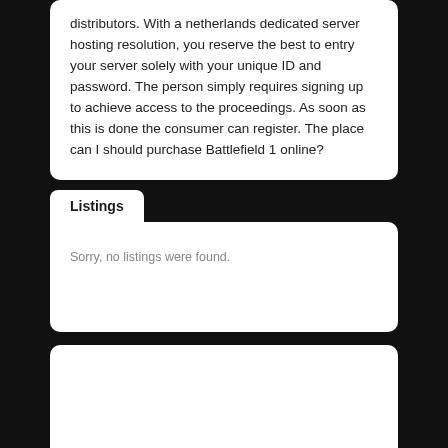distributors. With a netherlands dedicated server hosting resolution, you reserve the best to entry your server solely with your unique ID and password. The person simply requires signing up to achieve access to the proceedings. As soon as this is done the consumer can register. The place can I should purchase Battlefield 1 online?
Listings
Sorry, no listings were found.